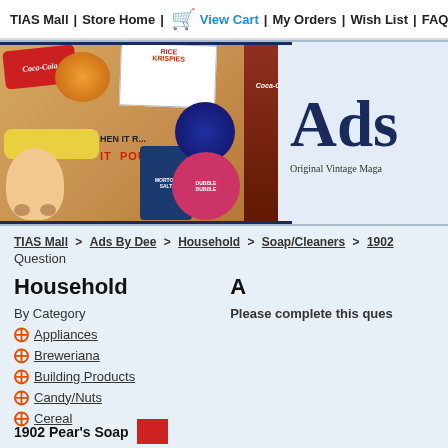TIAS Mall | Store Home | [cart icon] View Cart | My Orders | Wish List | FAQ
[Figure (photo): Collage of vintage magazine advertisements including Coca-Cola, Rice Krispies, Morton Salt, and Dubble Bubble, with 'Ads' text and 'Original Vintage Maga...' subtitle on right side]
TIAS Mall > Ads By Dee > Household > Soap/Cleaners > 1902 Question
Household
By Category
Appliances
Breweriana
Building Products
Candy/Nuts
Cereal
A
Please complete this ques
1902 Pear's Soap